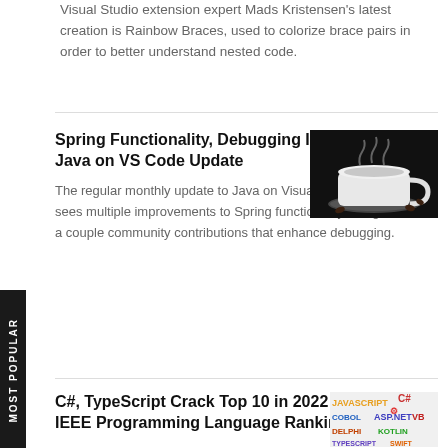Visual Studio extension expert Mads Kristensen's latest creation is Rainbow Braces, used to colorize brace pairs in order to better understand nested code.
Spring Functionality, Debugging Improved in Java on VS Code Update
[Figure (photo): A white coffee cup with steam on a dark background with coffee beans]
The regular monthly update to Java on Visual Studio Code sees multiple improvements to Spring functionality along with a couple community contributions that enhance debugging.
C#, TypeScript Crack Top 10 in 2022 IEEE Programming Language Ranking
[Figure (photo): Colorful text showing programming language names: JAVASCRIPT, C#, COBOL, ASP.NET, VB and others]